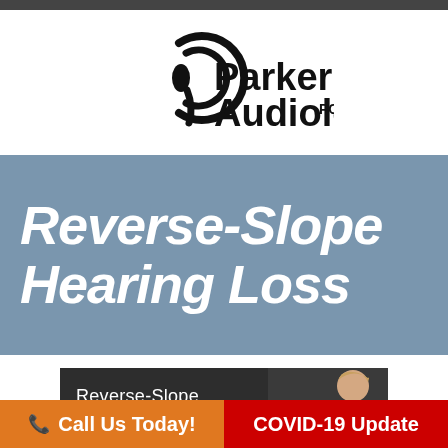[Figure (logo): Parker Audiology PC logo: an ear icon with sound waves and bold text 'Parker Audiology' with subscript 'PC']
Reverse-Slope Hearing Loss
[Figure (photo): Dark banner with text 'Reverse-Slope' and a photo of a woman on the right side]
Call Us Today!
COVID-19 Update